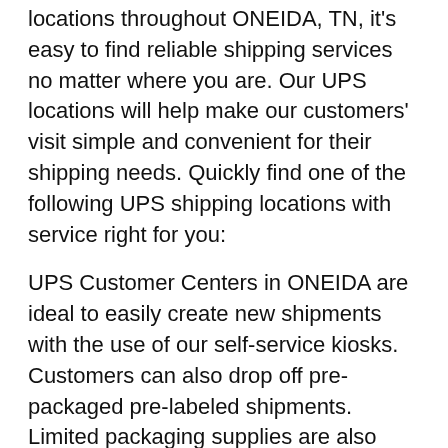locations throughout ONEIDA, TN, it's easy to find reliable shipping services no matter where you are. Our UPS locations will help make our customers' visit simple and convenient for their shipping needs. Quickly find one of the following UPS shipping locations with service right for you:
UPS Customer Centers in ONEIDA are ideal to easily create new shipments with the use of our self-service kiosks. Customers can also drop off pre-packaged pre-labeled shipments. Limited packaging supplies are also available to finish preparing a shipment. Customers in a time crunch can also print mobile shipping labels.
UPS Authorized Service Centers in ONEIDA are available for customers to create a new shipment, purchase packaging and shipping supplies, and drop off pre-packaged pre-labeled shipments. These locations bring flexibility and convenience for our customers.
UPS Alliance Shipping Partners in ONEIDA offer full...